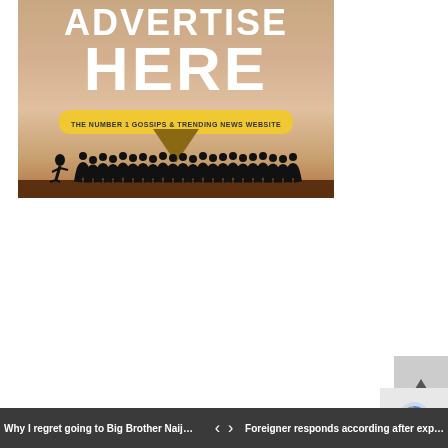[Figure (illustration): Advertisement banner showing 'ADVERTISE HERE' text in white bold letters on a warm sunset-toned background with silhouettes of people dancing/jumping at the bottom, and a yellow pill-shaped banner reading 'THE NUMBER 1 GOSSIPS & TRENDING NEWS WEBSITE', with a brown downward triangle arrow below it.]
Why I regret going to Big Brother Naij…  <  >  Foreigner responds according after exp…